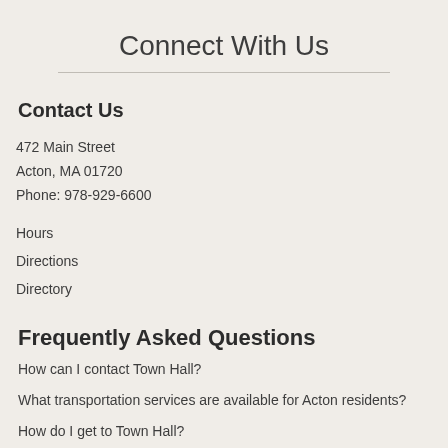Connect With Us
Contact Us
472 Main Street
Acton, MA 01720
Phone: 978-929-6600
Hours
Directions
Directory
Frequently Asked Questions
How can I contact Town Hall?
What transportation services are available for Acton residents?
How do I get to Town Hall?